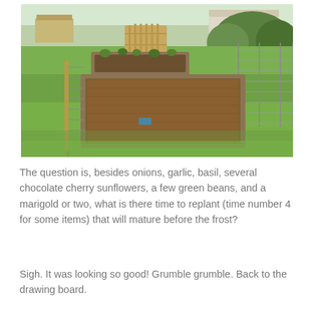[Figure (photo): Outdoor vegetable garden with raised wooden bed frames on a green lawn. A wooden fence post with wire mesh fencing is visible in the foreground left. The raised beds contain soil with some small plants. A wooden picket fence gate and shrubs/trees are visible in the background.]
The question is, besides onions, garlic, basil, several chocolate cherry sunflowers, a few green beans, and a marigold or two, what is there time to replant (time number 4 for some items) that will mature before the frost?
Sigh. It was looking so good! Grumble grumble. Back to the drawing board.